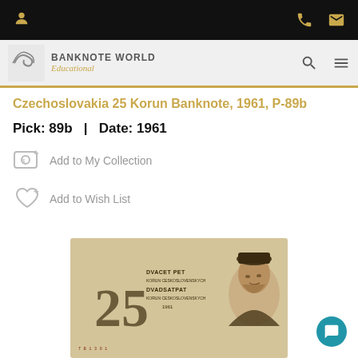Banknote World Educational - navigation bar with user, phone, mail icons
[Figure (logo): Banknote World Educational logo with spiral icon and text]
Czechoslovakia 25 Korun Banknote, 1961, P-89b
Pick: 89b  |  Date: 1961
Add to My Collection
Add to Wish List
[Figure (photo): Photo of a Czechoslovakia 25 Korun banknote from 1961 showing '25', 'DVACET PET KORUN CESKOSLOVENSKYCH DVADSATPAT KORUN CESKOSLOVENSKYCH 1961' and portrait of historical figure]